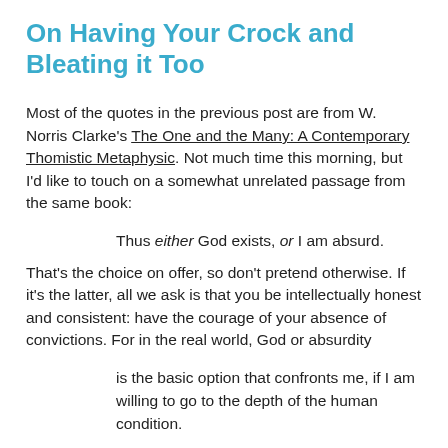On Having Your Crock and Bleating it Too
Most of the quotes in the previous post are from W. Norris Clarke's The One and the Many: A Contemporary Thomistic Metaphysic. Not much time this morning, but I'd like to touch on a somewhat unrelated passage from the same book:
Thus either God exists, or I am absurd.
That's the choice on offer, so don't pretend otherwise. If it's the latter, all we ask is that you be intellectually honest and consistent: have the courage of your absence of convictions. For in the real world, God or absurdity
is the basic option that confronts me, if I am willing to go to the depth of the human condition.
(In case you were wondering why atheists are so painfully intellectually shallow, generally even prior to their self-confessed spiritual shallowness.)